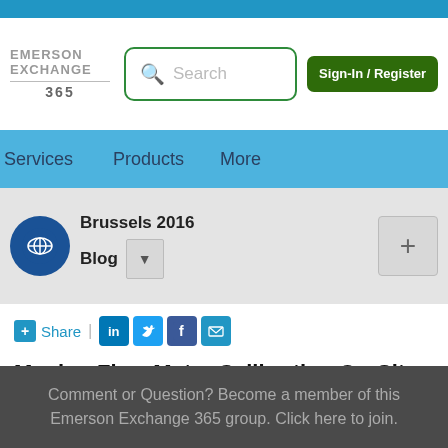[Figure (screenshot): Emerson Exchange 365 website header with logo, search bar, Sign-In/Register button, navigation bar with Services, Products, More, and Brussels 2016 Blog section]
[Figure (infographic): Share row with social media icons: LinkedIn, Twitter, Facebook, Email]
Moving Flow Meter Calibration On-Site
Comment or Question? Become a member of this Emerson Exchange 365 group. Click here to join.